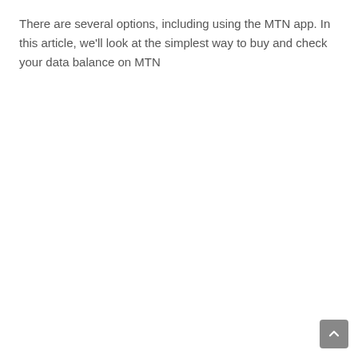There are several options, including using the MTN app. In this article, we'll look at the simplest way to buy and check your data balance on MTN